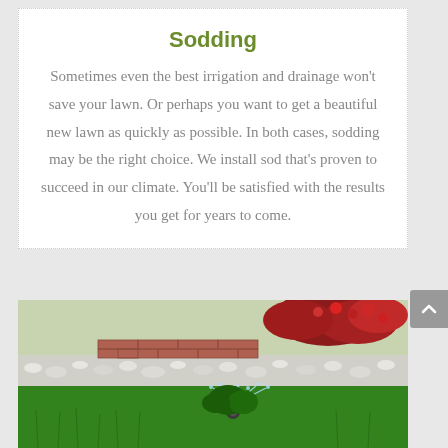Sodding
Sometimes even the best irrigation and drainage won’t save your lawn. Or perhaps you want to get a beautiful new lawn as quickly as possible. In both cases, sodding may be the right choice. We install sod that’s proven to succeed in our climate. You’ll be satisfied with the results you get for years to come.
[Figure (photo): Outdoor garden scene showing green grass lawn with a sprinkler, white decorative stones/gravel border, a brick pathway, and flowering red bushes in the background]